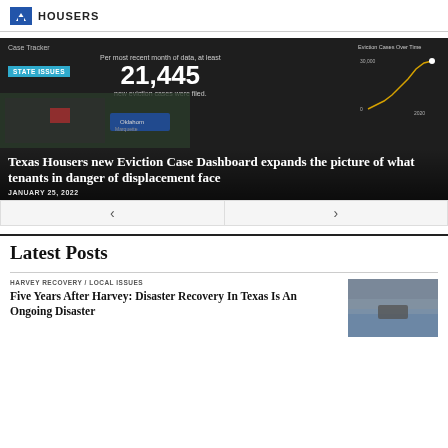HOUSERS
[Figure (screenshot): Texas Housers Eviction Case Dashboard screenshot showing 'Per most recent month of data, at least 21,445 new eviction cases were filed.' with a line chart labeled 'Eviction Cases Over Time' and a map of eviction cases in Texas counties.]
Texas Housers new Eviction Case Dashboard expands the picture of what tenants in danger of displacement face
STATE ISSUES
JANUARY 25, 2022
Latest Posts
HARVEY RECOVERY / LOCAL ISSUES
Five Years After Harvey: Disaster Recovery In Texas Is An Ongoing Disaster